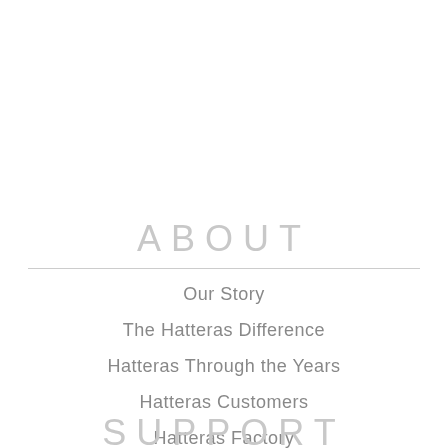ABOUT
Our Story
The Hatteras Difference
Hatteras Through the Years
Hatteras Customers
Hatteras Factory
SUPPORT